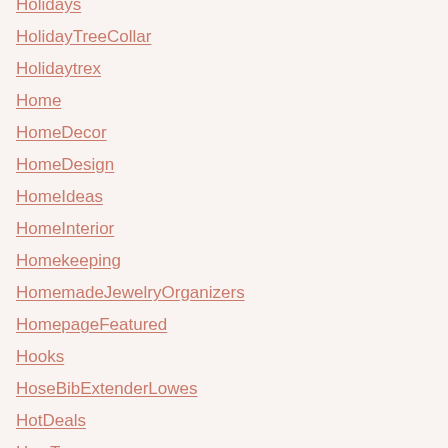Holidays
HolidayTreeCollar
Holidaytrex
Home
HomeDecor
HomeDesign
HomeIdeas
HomeInterior
Homekeeping
HomemadeJewelryOrganizers
HomepageFeatured
Hooks
HoseBibExtenderLowes
HotDeals
HowTo